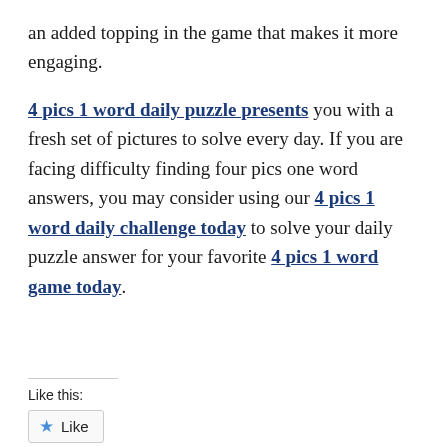an added topping in the game that makes it more engaging.
4 pics 1 word daily puzzle presents you with a fresh set of pictures to solve every day. If you are facing difficulty finding four pics one word answers, you may consider using our 4 pics 1 word daily challenge today to solve your daily puzzle answer for your favorite 4 pics 1 word game today.
Like this:
Like
Be the first to like this.